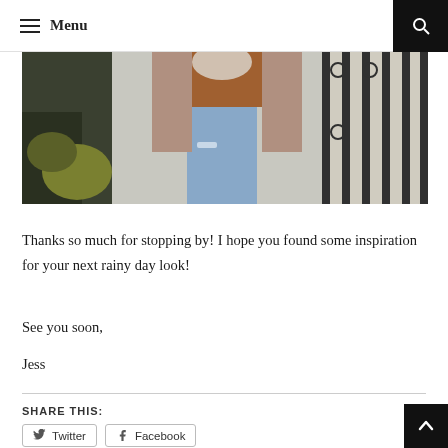Menu
[Figure (photo): Fashion photo showing a person wearing ripped jeans, a brown top, and a patterned coat, standing near an ornate iron fence]
Thanks so much for stopping by! I hope you found some inspiration for your next rainy day look!
See you soon,
Jess
SHARE THIS:
Twitter   Facebook